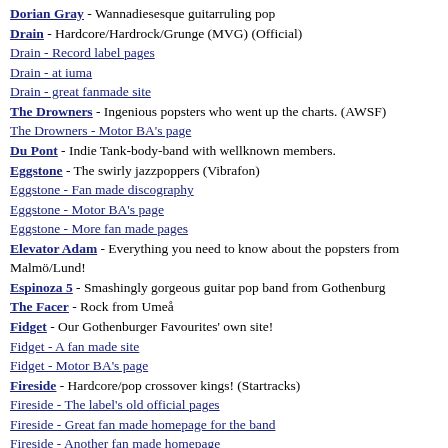Dorian Gray - Wannadiesesque guitarruling pop
Drain - Hardcore/Hardrock/Grunge (MVG) (Official)
Drain - Record label pages
Drain - at iuma
Drain - great fanmade site
The Drowners - Ingenious popsters who went up the charts. (AWSF)
The Drowners - Motor BA's page
Du Pont - Indie Tank-body-band with wellknown members.
Eggstone - The swirly jazzpoppers (Vibrafon)
Eggstone - Fan made discography
Eggstone - Motor BA's page
Eggstone - More fan made pages
Elevator Adam - Everything you need to know about the popsters from Malmö/Lund!
Espinoza 5 - Smashingly gorgeous guitar pop band from Gothenburg
The Facer - Rock from Umeå
Fidget - Our Gothenburger Favourites' own site!
Fidget - A fan made site
Fidget - Motor BA's page
Fireside - Hardcore/pop crossover kings! (Startracks)
Fireside - The label's old official pages
Fireside - Great fan made homepage for the band
Fireside - Another fan made homepage